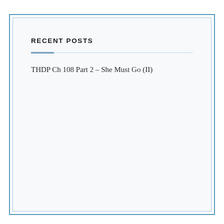RECENT POSTS
THDP Ch 108 Part 2 – She Must Go (II)